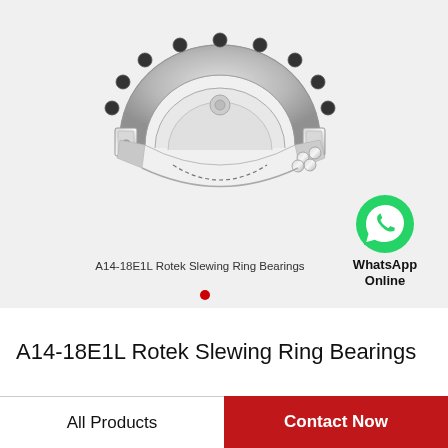[Figure (illustration): 3D rendered cutaway view of a large slewing ring bearing (A14-18E1L Rotek), showing the circular steel ring with bolt holes, inner ball bearing race exposed on the lower right, metallic silver finish.]
[Figure (logo): WhatsApp green circular icon with white phone handset, labeled 'WhatsApp Online' in bold black text below.]
A14-18E1L Rotek Slewing Ring Bearings
A14-18E1L Rotek Slewing Ring Bearings
All Products | Contact Now